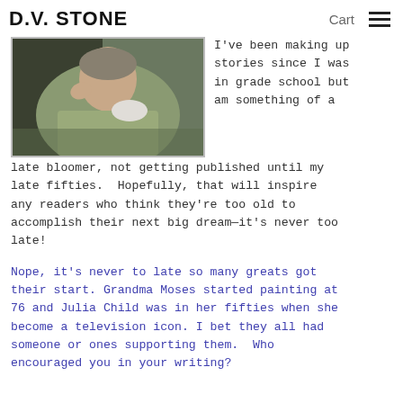D.V. STONE   Cart ☰
[Figure (photo): A person wearing a light green/olive jacket, photographed from the shoulders up, with their hand raised near their face.]
I've been making up stories since I was in grade school but am something of a late bloomer, not getting published until my late fifties.  Hopefully, that will inspire any readers who think they're too old to accomplish their next big dream—it's never too late!
Nope, it's never to late so many greats got their start. Grandma Moses started painting at 76 and Julia Child was in her fifties when she become a television icon. I bet they all had someone or ones supporting them. Who encouraged you in your writing?